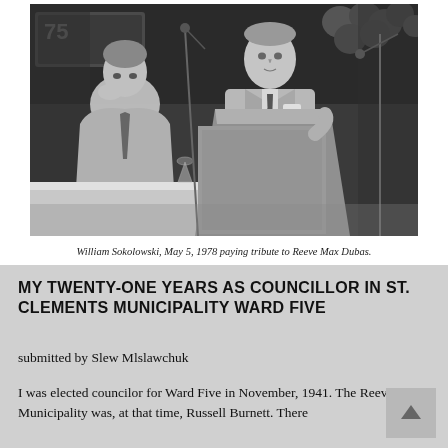[Figure (photo): Black and white photograph of William Sokolowski standing at a podium with microphone, speaking, while another man is seated at a table to the left. Balloons are visible in the background. The setting appears to be a formal event or banquet.]
William Sokolowski, May 5, 1978 paying tribute to Reeve Max Dubas.
MY TWENTY-ONE YEARS AS COUNCILLOR IN ST. CLEMENTS MUNICIPALITY WARD FIVE
submitted by Slew Mlslawchuk
I was elected councilor for Ward Five in November, 1941. The Reeve of the Municipality was, at that time, Russell Burnett. There